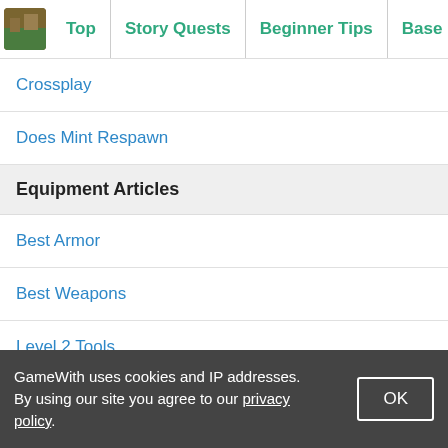Top | Story Quests | Beginner Tips | Base Location | B
Crossplay
Does Mint Respawn
Equipment Articles
Best Armor
Best Weapons
Level 2 Tools
Level 3 Tools
Level 3 Armor
Important Locations
GameWith uses cookies and IP addresses. By using our site you agree to our privacy policy.